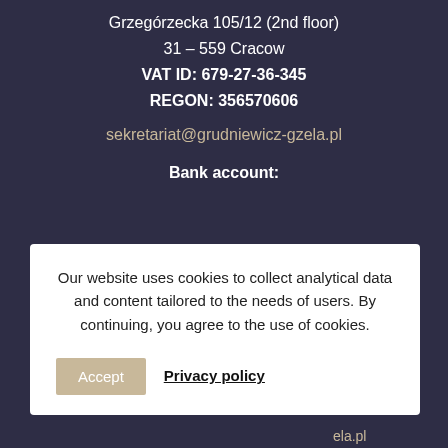Grzegórzecka 105/12 (2nd floor)
31 – 559 Cracow
VAT ID: 679-27-36-345
REGON: 356570606
sekretariat@grudniewicz-gzela.pl
Bank account:
cow
6746 7633
-at-law
ela.pl
e
+48602791200
Our website uses cookies to collect analytical data and content tailored to the needs of users. By continuing, you agree to the use of cookies.
Accept
Privacy policy